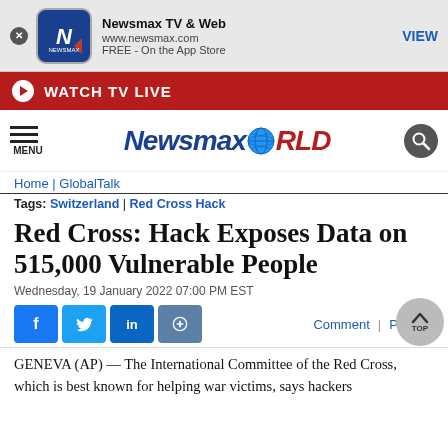[Figure (screenshot): Newsmax app download banner with icon, name, URL, and VIEW button]
[Figure (infographic): Red 'WATCH TV LIVE' banner with play button]
[Figure (logo): NewsmaxWORLD logo with hamburger menu and search icon]
Home | GlobalTalk
Tags: Switzerland | Red Cross Hack
Red Cross: Hack Exposes Data on 515,000 Vulnerable People
Wednesday, 19 January 2022 07:00 PM EST
[Figure (infographic): Social share buttons: Facebook, Twitter, LinkedIn, link. Comment | Print actions. Back to TOP button.]
GENEVA (AP) — The International Committee of the Red Cross, which is best known for helping war victims, says hackers